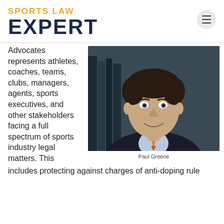SPORTS LAW EXPERT
Advocates represents athletes, coaches, teams, clubs, managers, agents, sports executives, and other stakeholders facing a full spectrum of sports industry legal matters. This includes protecting against charges of anti-doping rule
[Figure (photo): Professional headshot of Paul Greene, a man in a suit and tie, smiling, with bookshelves in background]
Paul Greene